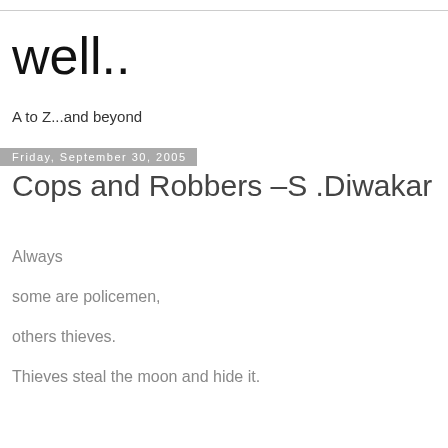well..
A to Z...and beyond
Friday, September 30, 2005
Cops and Robbers –S .Diwakar
Always
some are policemen,
others thieves.
Thieves steal the moon and hide it.